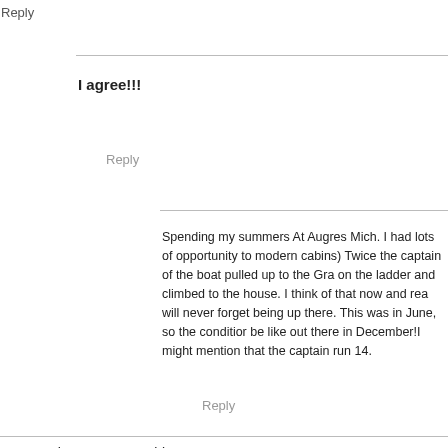Reply
I agree!!!
Reply
Spending my summers At Augres Mich. I had lots of opportunity to modern cabins) Twice the captain of the boat pulled up to the Gra on the ladder and climbed to the house. I think of that now and rea will never forget being up there. This was in June, so the conditio be like out there in December!I might mention that the captain run 14.
Reply
WOW!!! those are some big waves!
Reply